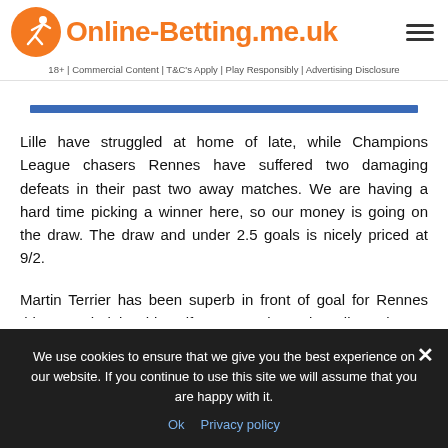Online-Betting.me.uk — 18+ | Commercial Content | T&C's Apply | Play Responsibly | Advertising Disclosure
Lille have struggled at home of late, while Champions League chasers Rennes have suffered two damaging defeats in their past two away matches. We are having a hard time picking a winner here, so our money is going on the draw. The draw and under 2.5 goals is nicely priced at 9/2.
Martin Terrier has been superb in front of goal for Rennes this term, helping himself to 21 goals. Only Kylian Mbappe and Wissam Ben
We use cookies to ensure that we give you the best experience on our website. If you continue to use this site we will assume that you are happy with it.
Ok   Privacy policy